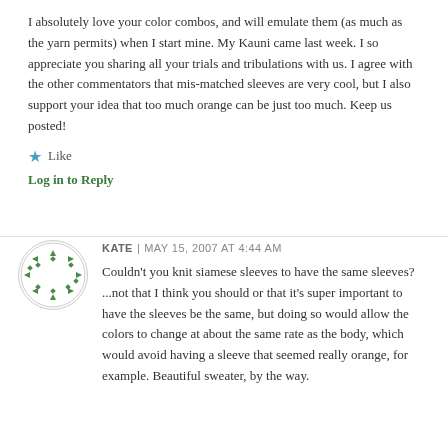I absolutely love your color combos, and will emulate them (as much as the yarn permits) when I start mine. My Kauni came last week. I so appreciate you sharing all your trials and tribulations with us. I agree with the other commentators that mis-matched sleeves are very cool, but I also support your idea that too much orange can be just too much. Keep us posted!
Like
Log in to Reply
[Figure (illustration): Circular avatar with green pattern of small diamond and triangle shapes arranged in a circle on white background]
KATE | MAY 15, 2007 AT 4:44 AM
Couldn't you knit siamese sleeves to have the same sleeves? ...not that I think you should or that it's super important to have the sleeves be the same, but doing so would allow the colors to change at about the same rate as the body, which would avoid having a sleeve that seemed really orange, for example. Beautiful sweater, by the way.